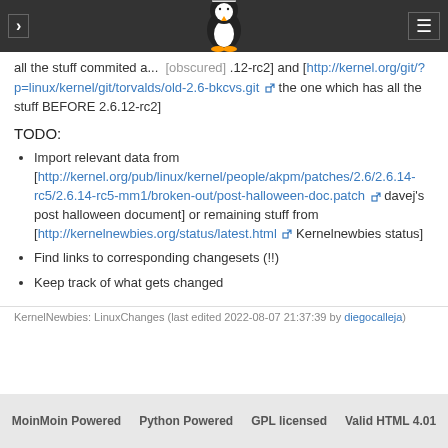KernelNewbies Linux Tux logo header navigation
all the stuff commited a... 12-rc2] and [http://kernel.org/git/?p=linux/kernel/git/torvalds/old-2.6-bkcvs.git the one which has all the stuff BEFORE 2.6.12-rc2]
TODO:
Import relevant data from [http://kernel.org/pub/linux/kernel/people/akpm/patches/2.6/2.6.14-rc5/2.6.14-rc5-mm1/broken-out/post-halloween-doc.patch davej's post halloween document] or remaining stuff from [http://kernelnewbies.org/status/latest.html Kernelnewbies status]
Find links to corresponding changesets (!!)
Keep track of what gets changed
KernelNewbies: LinuxChanges (last edited 2022-08-07 21:37:39 by diegocalleja)
MoinMoin Powered   Python Powered   GPL licensed   Valid HTML 4.01